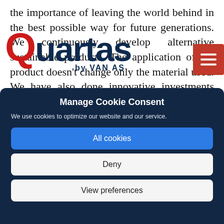the importance of leaving the world behind in the best possible way for future generations. We continuously develop alternative sustainable products. The application of the product doesn't change only the material used. We have also done innovative investments like
[Figure (logo): Quartas by VAN AS logo — large dark navy text with red Q letter and subtitle 'by VAN AS']
[Figure (other): Red hamburger menu button (three white horizontal lines) in top-right corner]
Manage Cookie Consent
We use cookies to optimize our website and our service.
All cookies
Deny
View preferences